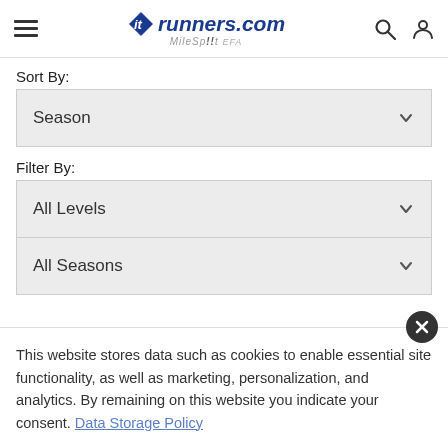MileSplit runners.com — navigation bar with hamburger menu, logo, search, and user icons
Sort By:
Season
Filter By:
All Levels
All Seasons
This website stores data such as cookies to enable essential site functionality, as well as marketing, personalization, and analytics. By remaining on this website you indicate your consent. Data Storage Policy